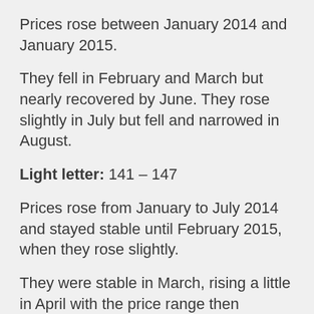Prices rose between January 2014 and January 2015.
They fell in February and March but nearly recovered by June. They rose slightly in July but fell and narrowed in August.
Light letter: 141 – 147
Prices rose from January to July 2014 and stayed stable until February 2015, when they rose slightly.
They were stable in March, rising a little in April with the price range then narrowing in May. The lower end of the price range increased in June. They remained stable in July. In August, the price narrowed (with the lowest price rising slightly).
White letter: 170-180
Prices rose from January to July 2014 and stayed stable until February 2015, when they rose slightly.